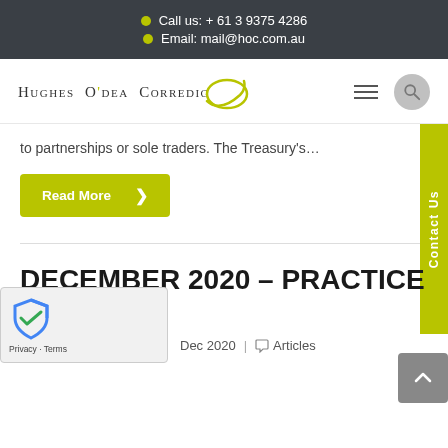Call us: + 61 3 9375 4286 | Email: mail@hoc.com.au
[Figure (logo): Hughes O'dea Corredig law firm logo with stylized swirl graphic]
to partnerships or sole traders. The Treasury's…
Read More
DECEMBER 2020 – PRACTICE UPDATE
Dec 2020 | Articles